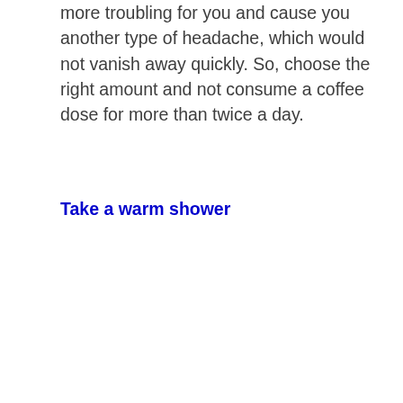more troubling for you and cause you another type of headache, which would not vanish away quickly. So, choose the right amount and not consume a coffee dose for more than twice a day.
Take a warm shower